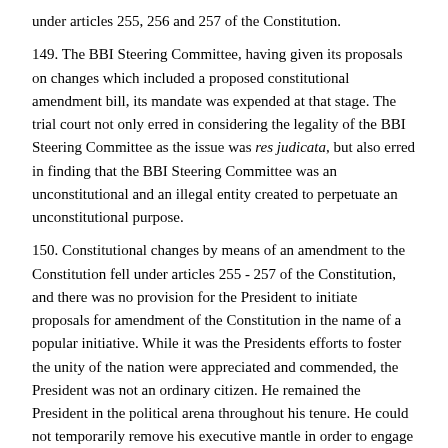under articles 255, 256 and 257 of the Constitution.
149. The BBI Steering Committee, having given its proposals on changes which included a proposed constitutional amendment bill, its mandate was expended at that stage. The trial court not only erred in considering the legality of the BBI Steering Committee as the issue was res judicata, but also erred in finding that the BBI Steering Committee was an unconstitutional and an illegal entity created to perpetuate an unconstitutional purpose.
150. Constitutional changes by means of an amendment to the Constitution fell under articles 255 - 257 of the Constitution, and there was no provision for the President to initiate proposals for amendment of the Constitution in the name of a popular initiative. While it was the Presidents efforts to foster the unity of the nation were appreciated and commended, the President was not an ordinary citizen. He remained the President in the political arena throughout his tenure. He could not temporarily remove his executive mantle in order to engage in a popular initiative, which was a process that had been reserved for citizens.
151. The Presidents role in the amendment of the Constitution was at the tail end of the process, as provided under articles 256(5) and 257(9) of the Constitution, and that was in his capacity as President, to assent to an amendment bill once passed by Parliament or the people through